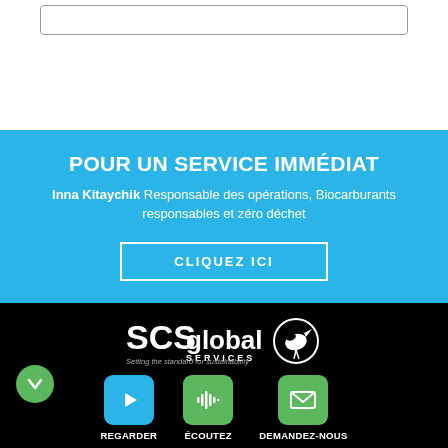[Figure (screenshot): White section with an input/search box outline near the top]
POUR UN SERVICE IMMÉDIAT
Inna Kitaychik Responsable des opérations, Biocarburants responsables et zéro déchet
CLIQUEZ ICI
[Figure (logo): SCS Global Services logo with bird icon and tagline 'Setting the standard for sustainability']
REGARDER
ÉCOUTEZ
DEMANDEZ-NOUS